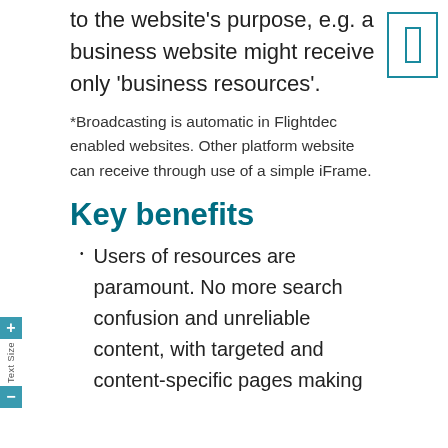to the website's purpose, e.g. a business website might receive only 'business resources'.
*Broadcasting is automatic in Flightdec enabled websites. Other platform website can receive through use of a simple iFrame.
Key benefits
Users of resources are paramount. No more search confusion and unreliable content, with targeted and content-specific pages making